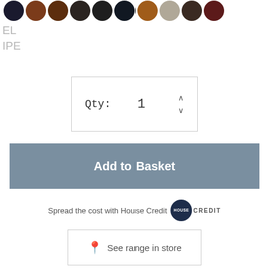[Figure (other): Row of circular color swatches (fabric/leather samples) in various dark browns, blacks, tans, and grays at the top of the page]
EL
IPE
[Figure (other): Quantity selector box showing Qty: 1 with up/down arrows]
Add to Basket
Spread the cost with House Credit [HOUSE CREDIT logo]
See range in store
DETAILS
DESIGN